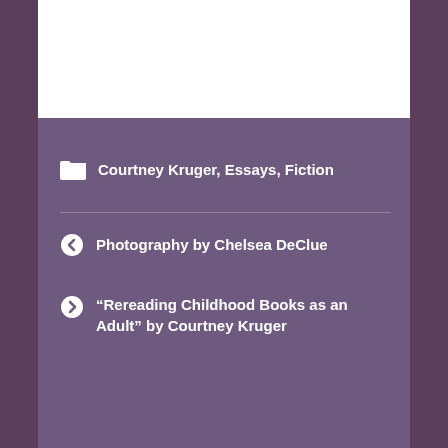Courtney Kruger, Essays, Fiction
Photography by Chelsea DeClue
“Rereading Childhood Books as an Adult” by Courtney Kruger
Leave a Reply
Your email address will not be published. Required fields are marked